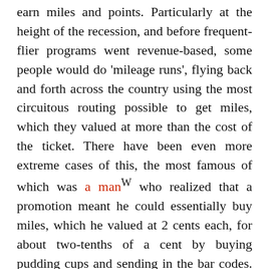are obsessed, and search out any opportunity to earn miles and points. Particularly at the height of the recession, and before frequent-flier programs went revenue-based, some people would do 'mileage runs', flying back and forth across the country using the most circuitous routing possible to get miles, which they valued at more than the cost of the ticket. There have been even more extreme cases of this, the most famous of which was a man who realized that a promotion meant he could essentially buy miles, which he valued at 2 cents each, for about two-tenths of a cent by buying pudding cups and sending in the bar codes. He bought 12,530 cups, worth 1,253,000 miles, and then made a deal with the Salvation Army to help him remove the bar codes. In return, he donated the pudding and the tax write-off $815 in pudding...